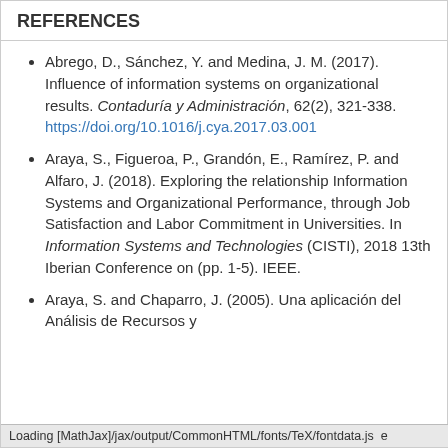REFERENCES
Abrego, D., Sánchez, Y. and Medina, J. M. (2017). Influence of information systems on organizational results. Contaduría y Administración, 62(2), 321-338. https://doi.org/10.1016/j.cya.2017.03.001
Araya, S., Figueroa, P., Grandón, E., Ramírez, P. and Alfaro, J. (2018). Exploring the relationship Information Systems and Organizational Performance, through Job Satisfaction and Labor Commitment in Universities. In Information Systems and Technologies (CISTI), 2018 13th Iberian Conference on (pp. 1-5). IEEE.
Araya, S. and Chaparro, J. (2005). Una aplicación del Análisis de Recursos y
Loading [MathJax]/jax/output/CommonHTML/fonts/TeX/fontdata.js